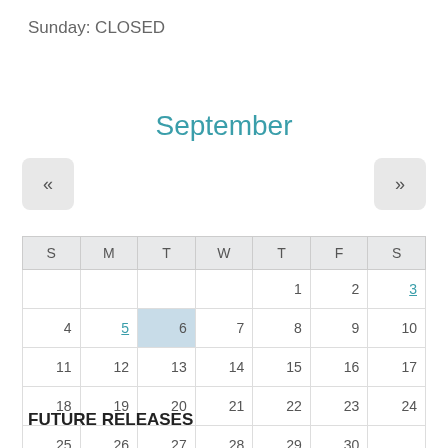Sunday: CLOSED
September
| S | M | T | W | T | F | S |
| --- | --- | --- | --- | --- | --- | --- |
|  |  |  |  | 1 | 2 | 3 |
| 4 | 5 | 6 | 7 | 8 | 9 | 10 |
| 11 | 12 | 13 | 14 | 15 | 16 | 17 |
| 18 | 19 | 20 | 21 | 22 | 23 | 24 |
| 25 | 26 | 27 | 28 | 29 | 30 |  |
FUTURE RELEASES